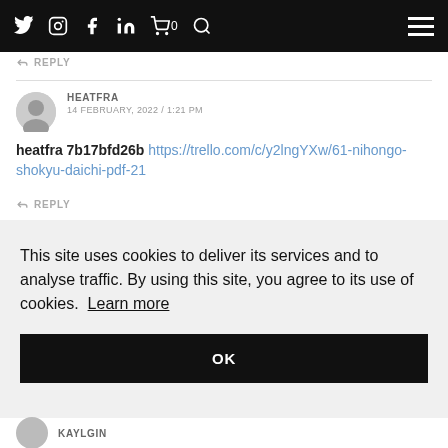Navigation bar with social icons: Twitter, Instagram, Facebook, LinkedIn, Cart (0), Search, Hamburger menu
REPLY
HEATFRA
14 FEBRUARY, 2022 / 1:21 PM
heatfra 7b17bfd26b https://trello.com/c/y2lngYXw/61-nihongo-shokyu-daichi-pdf-21
REPLY
This site uses cookies to deliver its services and to analyse traffic. By using this site, you agree to its use of cookies.  Learn more
OK
KAYLGIN